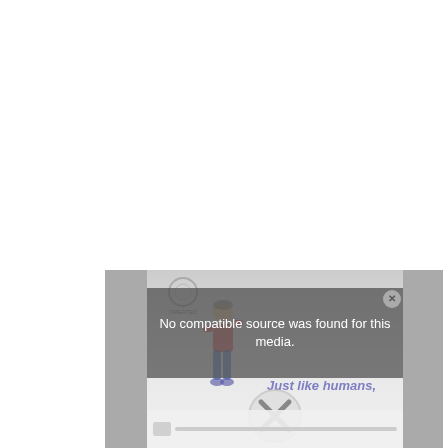[Figure (screenshot): A video player screenshot showing an error overlay message 'No compatible source was found for this media.' with a close button (X) in the top-right corner, an animated cartoon character figure on the left side, the text 'Just like humans,' partially visible, and an X symbol overlaid on a circular shape. The top portion of the page is white/blank, and the player appears at the bottom portion of the page with gray side panels.]